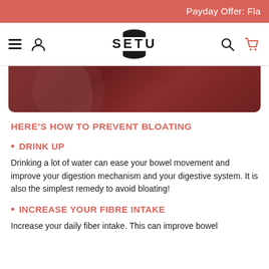Payday Offer: Fla
[Figure (logo): SETU brand logo with hamburger menu, user icon, search and cart icons in navigation bar]
[Figure (illustration): Dark red/maroon decorative banner image]
HERE'S HOW TO PREVENT BLOATING
DRINK UP
Drinking a lot of water can ease your bowel movement and improve your digestion mechanism and your digestive system. It is also the simplest remedy to avoid bloating!
INCREASE YOUR FIBRE INTAKE
Increase your daily fiber intake. This can improve bowel